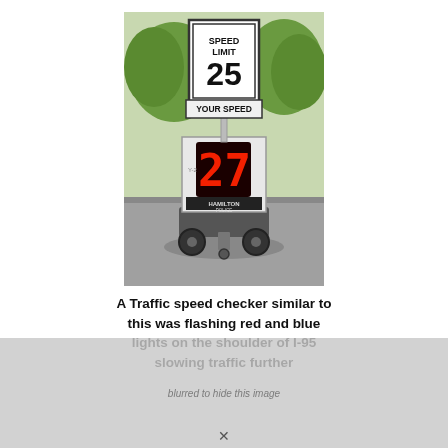[Figure (photo): A portable traffic speed checker trailer with a 'SPEED LIMIT 25' sign on top, a 'YOUR SPEED' display showing '27' in red LED digits, and 'HAMILTON POLICE' text on the lower panel. The device is on wheels on a road with trees in the background.]
A Traffic speed checker similar to this was flashing red and blue lights on the shoulder of I-95 slowing traffic further